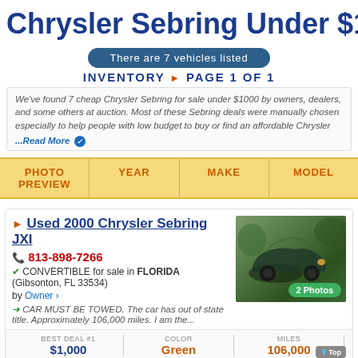Chrysler Sebring Under $1000
There are 7 vehicles listed
INVENTORY ▶ PAGE 1 OF 1
We've found 7 cheap Chrysler Sebring for sale under $1000 by owners, dealers, and some others at auction. Most of these Sebring deals were manually chosen especially to help people with low budget to buy or find an affordable Chrysler ...Read More
| PHOTO PREVIEW | YEAR | MAKE | MODEL |
| --- | --- | --- | --- |
Used 2000 Chrysler Sebring JXI
813-898-7266
CONVERTIBLE for sale in FLORIDA (Gibsonton, FL 33534) by Owner ›
CAR MUST BE TOWED. The car has out of state title. Approximately 106,000 miles. I am the...
BEST DEAL #1  $1,000   COLOR Green   MILES 106,000